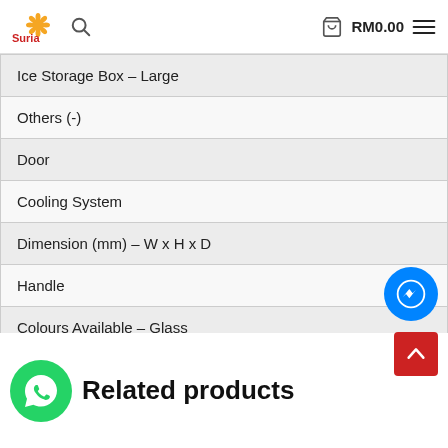Suria | RM0.00
| Ice Storage Box – Large |
| Others (-) |
| Door |
| Cooling System |
| Dimension (mm) – W x H x D |
| Handle |
| Colours Available – Glass |
| Colours Available – Metal |
Related products